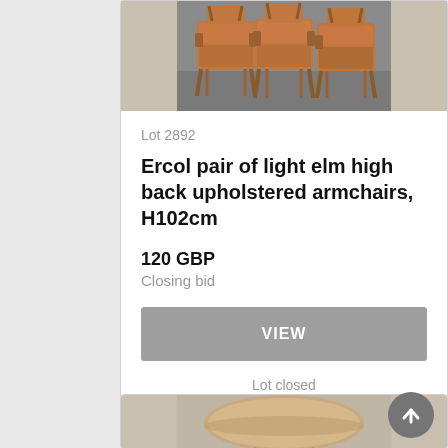[Figure (photo): Photo of two Ercol light elm high back upholstered armchairs with tan leather cushions, wooden frame, viewed from front]
Lot 2892
Ercol pair of light elm high back upholstered armchairs, H102cm
120 GBP
Closing bid
VIEW
Lot closed
Lot location: Stroud
[Figure (photo): Partial photo of a round Ercol wooden coffee table or stool, light elm, viewed from above at an angle]